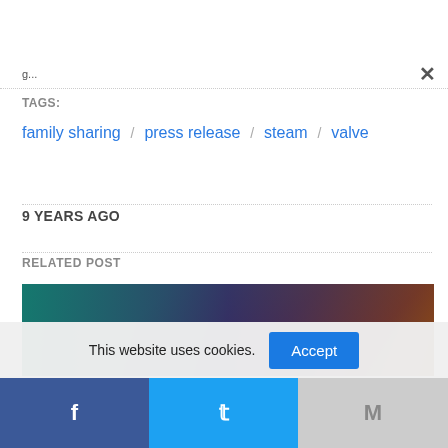g...
TAGS:
family sharing / press release / steam / valve
9 YEARS AGO
RELATED POST
[Figure (photo): A dark fantasy/gaming related image with teal, purple, and orange tones showing characters in a scene]
This website uses cookies.
Accept
Facebook share icon
Twitter share icon
Gmail/Mail share icon